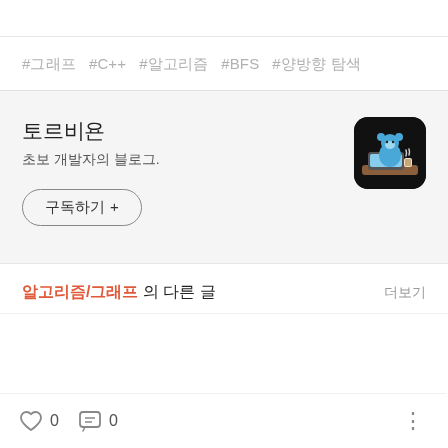#그래프  #C++  #알고리즘  #BFS  #양방향 탐색
토르비욘
초보 개발자의 블로그.
구독하기 +
[Figure (illustration): A small square app icon with black background showing a blue cartoon bear sitting at a laptop with a coffee cup, with steam rising.]
알고리즘/그래프 의 다른 글
더보기
0
0